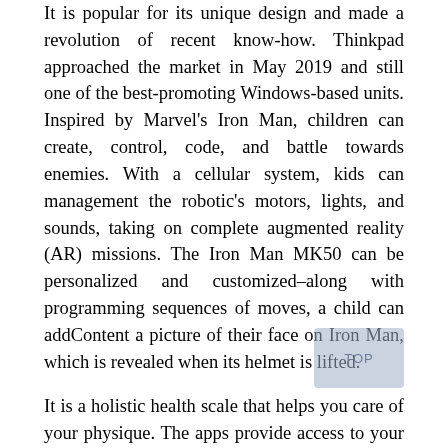It is popular for its unique design and made a revolution of recent know-how. Thinkpad approached the market in May 2019 and still one of the best-promoting Windows-based units. Inspired by Marvel's Iron Man, children can create, control, code, and battle towards enemies. With a cellular system, kids can management the robotic's motors, lights, and sounds, taking on complete augmented reality (AR) missions. The Iron Man MK50 can be personalized and customized–along with programming sequences of moves, a child can addContent a picture of their face on Iron Man, which is revealed when its helmet is lifted.
It is a holistic health scale that helps you care of your physique. The apps provide access to your iTunes library and other streaming providers offering great flexibility. You can play your music from any gadget that's loaded with the app.
We requested a handful of tech editors and reporters for the No. 1 gadget that makes their lives better. Many of them named sensible speakers, like Google Home and Amazon Echo, which respond to your voice for hands-free assist